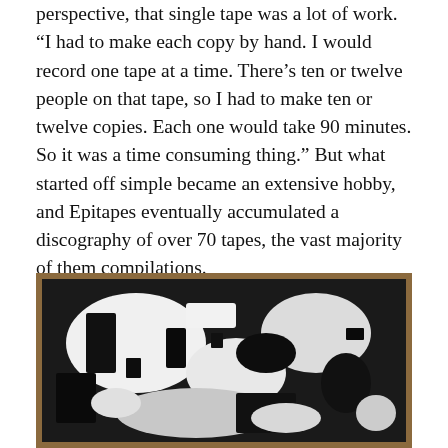perspective, that single tape was a lot of work. “I had to make each copy by hand. I would record one tape at a time. There’s ten or twelve people on that tape, so I had to make ten or twelve copies. Each one would take 90 minutes. So it was a time consuming thing.” But what started off simple became an extensive hobby, and Epitapes eventually accumulated a discography of over 70 tapes, the vast majority of them compilations.
[Figure (photo): Black and white high-contrast photograph of what appears to be a cassette tape or album artwork, showing abstract textures and shapes in stark black and white against a brownish background.]